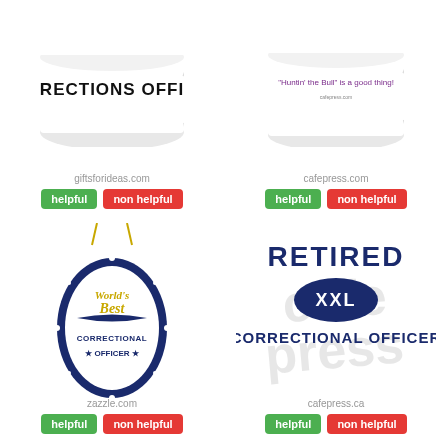[Figure (photo): White mug with text 'CORRECTIONS OFFICER' in bold black letters, partial view showing bottom of mug]
giftsforideas.com
[Figure (photo): White ceramic mug with text about 'Huntin' the Bull is a good thing' in purple letters]
cafepress.com
[Figure (illustration): Oval ornament with navy blue border and gold text: World's Best Correctional Officer, with stars decoration, hanging from gold strings]
zazzle.com
[Figure (illustration): Retired Correctional Officer graphic: navy blue text RETIRED above an oval badge with XXL, below CORRECTIONAL OFFICER in bold navy, with faded cafepress watermark]
cafepress.ca